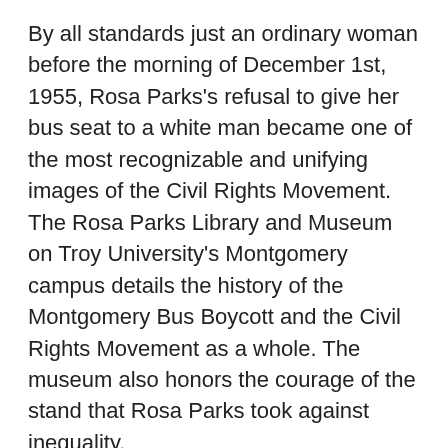By all standards just an ordinary woman before the morning of December 1st, 1955, Rosa Parks's refusal to give her bus seat to a white man became one of the most recognizable and unifying images of the Civil Rights Movement. The Rosa Parks Library and Museum on Troy University's Montgomery campus details the history of the Montgomery Bus Boycott and the Civil Rights Movement as a whole. The museum also honors the courage of the stand that Rosa Parks took against inequality.
montgomery.troy.edu/museum/default.htm
Civil Rights Memorial Center
Located in Montgomery near some of the most important landmarks of the Civil Rights Movement, this Memorial Center houses in-depth exhibits on those that struggled for equality. The Civil Rights